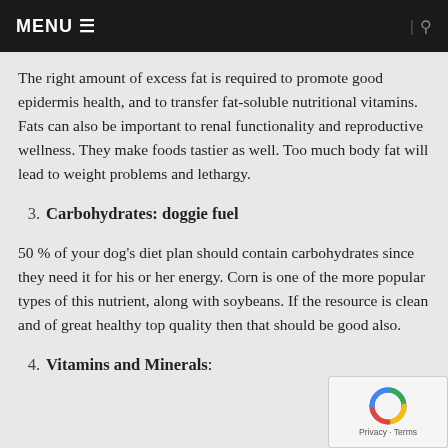MENU ≡  | 🔍
The right amount of excess fat is required to promote good epidermis health, and to transfer fat-soluble nutritional vitamins. Fats can also be important to renal functionality and reproductive wellness. They make foods tastier as well. Too much body fat will lead to weight problems and lethargy.
3. Carbohydrates: doggie fuel
50 % of your dog's diet plan should contain carbohydrates since they need it for his or her energy. Corn is one of the more popular types of this nutrient, along with soybeans. If the resource is clean and of great healthy top quality then that should be good also.
4. Vitamins and Minerals: